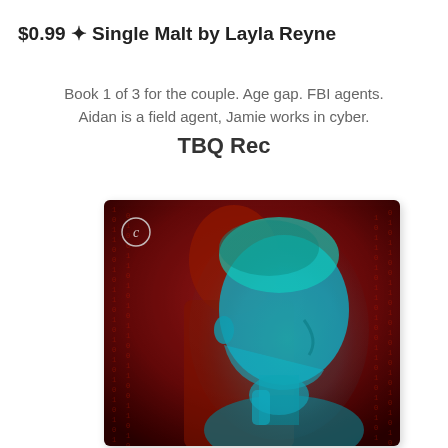$0.99 ✦ Single Malt by Layla Reyne
Book 1 of 3 for the couple. Age gap. FBI agents. Aidan is a field agent, Jamie works in cyber.
TBQ Rec
[Figure (photo): Book cover for 'Single Malt' by Layla Reyne showing a man's face in profile with teal/cyan lighting overlay against a dark red digital matrix background with binary code patterns. A Carina Press logo is visible in the upper left corner.]